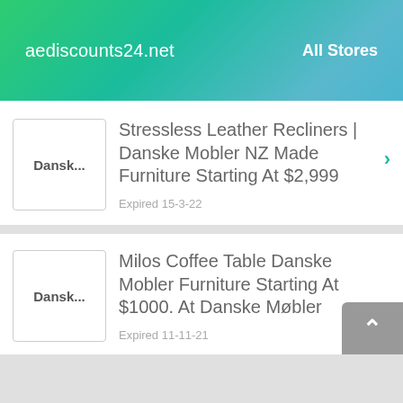aediscounts24.net   All Stores
Stressless Leather Recliners | Danske Mobler NZ Made Furniture Starting At $2,999
Expired 15-3-22
Milos Coffee Table Danske Mobler Furniture Starting At $1000. At Danske Møbler
Expired 11-11-21